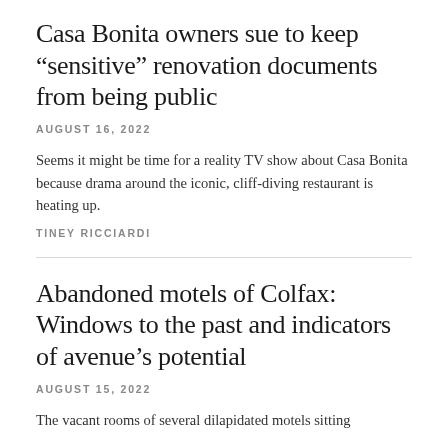Casa Bonita owners sue to keep “sensitive” renovation documents from being public
AUGUST 16, 2022
Seems it might be time for a reality TV show about Casa Bonita because drama around the iconic, cliff-diving restaurant is heating up.
TINEY RICCIARDI
Abandoned motels of Colfax: Windows to the past and indicators of avenue’s potential
AUGUST 15, 2022
The vacant rooms of several dilapidated motels sitting